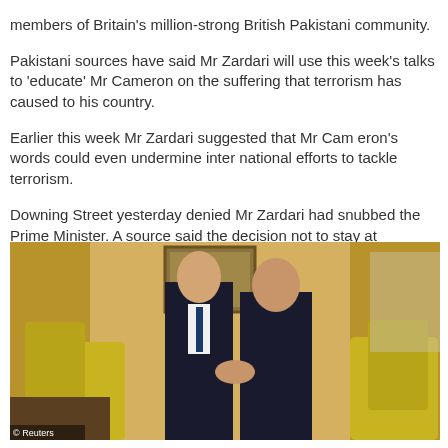members of Britain's million-strong British Pakistani community.
Pakistani sources have said Mr Zardari will use this week's talks to 'educate' Mr Cameron on the suffering that terrorism has caused to his country.
Earlier this week Mr Zardari suggested that Mr Cam eron's words could even undermine inter national efforts to tackle terrorism.
Downing Street yesterday denied Mr Zardari had snubbed the Prime Minister. A source said the decision not to stay at Chequers was due to a 'diary clash'.
[Figure (photo): Two men in dark suits shaking hands in an ornate room with gold curtains, yellow chairs, and artwork on the walls. A Reuters watermark is visible at the bottom left.]